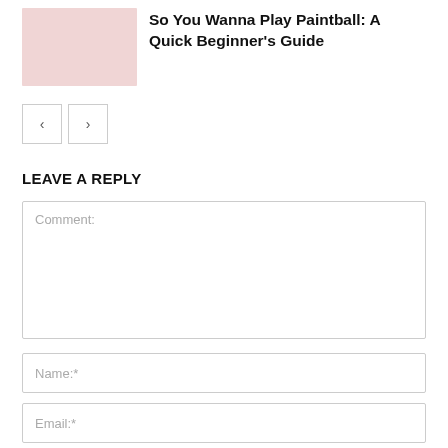[Figure (photo): Thumbnail image of people playing paintball, pink/red toned]
So You Wanna Play Paintball: A Quick Beginner's Guide
< >
LEAVE A REPLY
Comment:
Name:*
Email:*